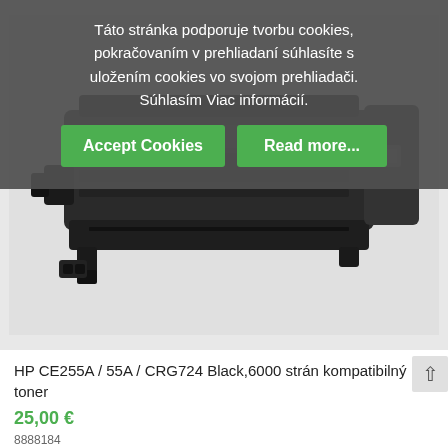Táto stránka podporuje tvorbu cookies, pokračovaním v prehliadaní súhlasíte s uložením cookies vo svojom prehliadači. Súhlasím Viac informácií.
[Figure (screenshot): Cookie consent overlay with two green buttons: 'Accept Cookies' and 'Read more...']
[Figure (photo): HP CE255A / 55A / CRG724 black laser toner cartridge on light grey background]
HP CE255A / 55A / CRG724 Black,6000 strán kompatibilný toner
25,00 €
8888184